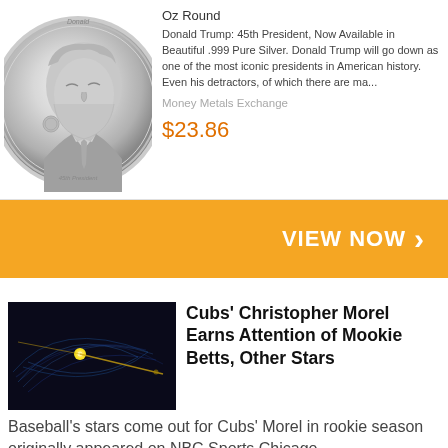[Figure (photo): Silver coin featuring Donald Trump profile, labeled '45th President']
Oz Round
Donald Trump: 45th President, Now Available in Beautiful .999 Pure Silver. Donald Trump will go down as one of the most iconic presidents in American history. Even his detractors, of which there are ma...
Money Metals Exchange
$23.86
VIEW NOW ›
[Figure (photo): Dark image showing a yellow glowing dot connected by light trails on a dark blue/black background]
Cubs' Christopher Morel Earns Attention of Mookie Betts, Other Stars
Baseball's stars come out for Cubs' Morel in rookie season originally appeared on NBC Sports Chicago